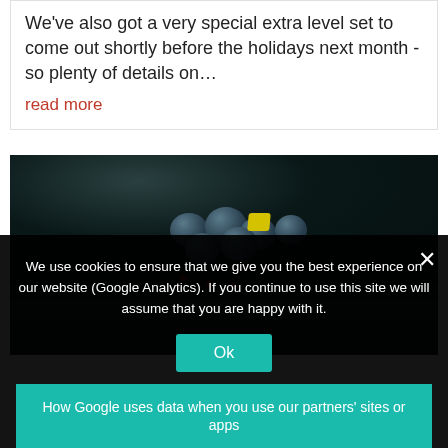We've also got a very special extra level set to come out shortly before the holidays next month - so plenty of details on…
read more
[Figure (photo): Dark atmospheric photo showing what appears to be a turtle or creature underneath rocks/shells, with round blue-grey stones/eggs, a yellow accent, and red ants on mossy green ground]
We use cookies to ensure that we give you the best experience on our website (Google Analytics). If you continue to use this site we will assume that you are happy with it.
Ok
How Google uses data when you use our partners' sites or apps